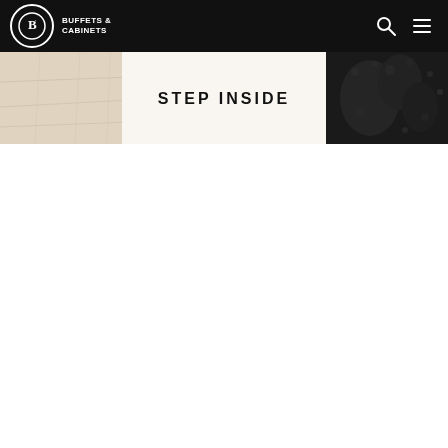Buffets & Cabinets
[Figure (photo): Hero banner with 'STEP INSIDE' text overlay on a light wood floor and dark textured background image]